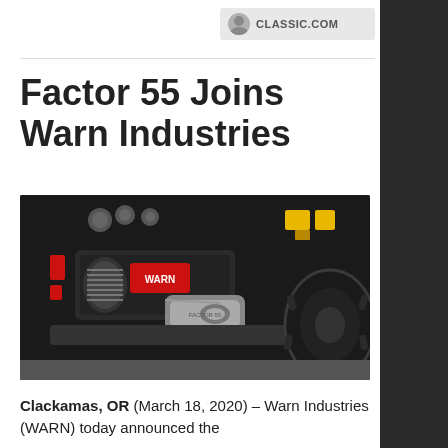CLASSIC.COM
Factor 55 Joins Warn Industries
[Figure (photo): Close-up photo of a WARN winch with a Factor 55 aluminum fairlead/hook attached, mounted on a dark off-road vehicle bumper. A large off-road tire is visible on the right side.]
Clackamas, OR (March 18, 2020) – Warn Industries (WARN) today announced the